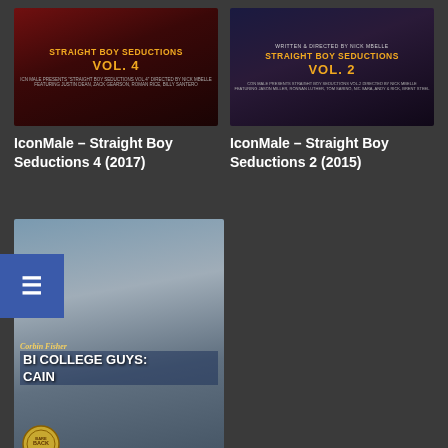[Figure (photo): Movie cover for IconMale - Straight Boy Seductions Vol. 4 (2017), dark red background with stylized text]
IconMale – Straight Boy Seductions 4 (2017)
[Figure (photo): Movie cover for IconMale - Straight Boy Seductions Vol. 2 (2015), dark purple background with stylized text]
IconMale – Straight Boy Seductions 2 (2015)
[Figure (photo): Movie cover for CorbinFisher - Bi College Guys: Cain, showing two men and CorbinFisher branding with bareback badge and corbinfisher.com URL]
CorbinFisher – Bi College